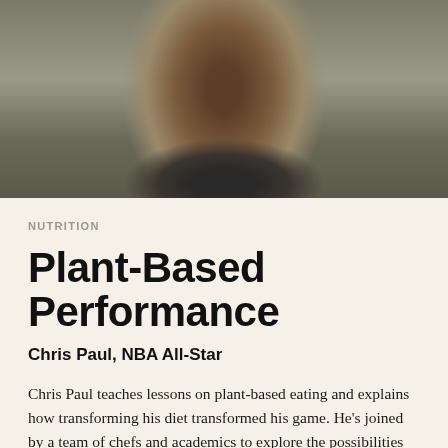[Figure (photo): Portrait photo of Chris Paul, NBA All-Star, smiling, wearing a dark shirt, photographed from chest up against a neutral background]
NUTRITION
Plant-Based Performance
Chris Paul, NBA All-Star
Chris Paul teaches lessons on plant-based eating and explains how transforming his diet transformed his game. He's joined by a team of chefs and academics to explore the possibilities of simple, healthful plant-based nutrition and inspire elite